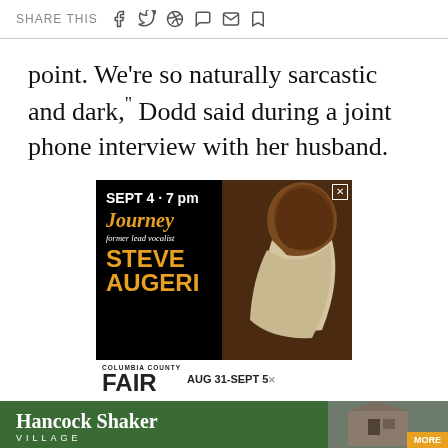SHARE THIS
point. We're so naturally sarcastic and dark," Dodd said during a joint phone interview with her husband.
[Figure (advertisement): Concert advertisement: SEPT 4 · 7 pm, Journey former lead vocalist STEVE AUGERI, Columbia County FAIR AUG 31-SEPT 5. Black background with photo of performer.]
[Figure (advertisement): Hancock Shaker Village advertisement with green background and photo of building. MORE button in yellow.]